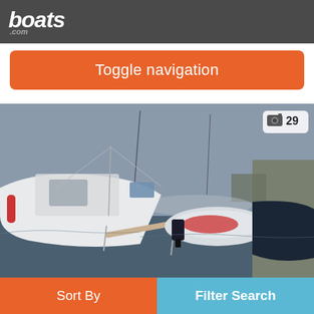boats.com
Toggle navigation
[Figure (photo): Marina scene with a white Lagoon catamaran in the foreground, an inflatable dinghy with outboard motor in the middle, and other sailboats moored at a dock. A camera icon and '29' badge appears in the top-right corner of the photo.]
Lagoon LAGOON 57 S
Sort By
Filter Search